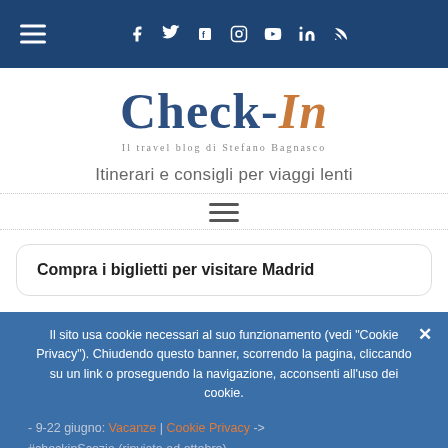Check-In — Il travel blog di Stefano Bagnasco
Check-In — Il travel blog di Stefano Bagnasco
Itinerari e consigli per viaggi lenti
Compra i biglietti per visitare Madrid
Il sito usa cookie necessari al suo funzionamento (vedi "Cookie Privacy"). Chiudendo questo banner, scorrendo la pagina, cliccando su un link o proseguendo la navigazione, acconsenti all'uso dei cookie.
- 9-22 giugno: Vacanze | Cookie Privacy -> #checkinScozia (rinviato ad ottobre)